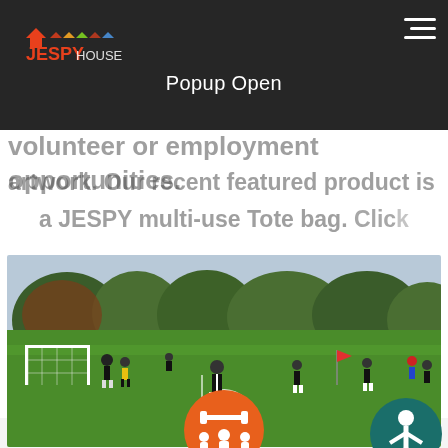[Figure (logo): JESPY House logo with colorful house icon]
Popup Open
volunteer or employment opportunities.
artwork. Our recent featured product is a JESPY multi-use Tote bag. Click ... the ... owe...
[Figure (photo): Outdoor soccer match on a grass field with players in dark uniforms and a goal visible on the left, trees in background]
[Figure (illustration): Orange circle with white icons showing a barbell and group of people (fitness/community icon)]
[Figure (illustration): Teal/dark green circle with white accessibility person icon (accessibility widget)]